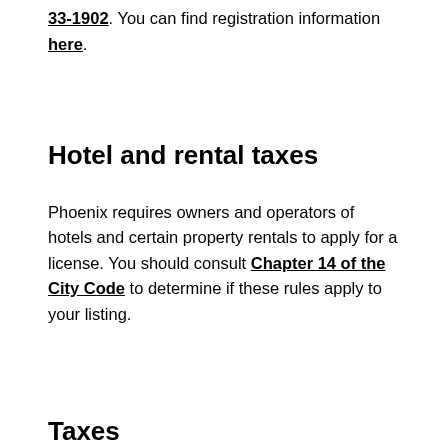33-1902. You can find registration information here.
Hotel and rental taxes
Phoenix requires owners and operators of hotels and certain property rentals to apply for a license. You should consult Chapter 14 of the City Code to determine if these rules apply to your listing.
Taxes
Phoenix assesses a sales tax on real property rentals and an additional transient lodging tax. Guests qualifying as a “permanent resident,” or guest stays of 30 days or more, are exempt from the transient lodging tax. Airbnb collects